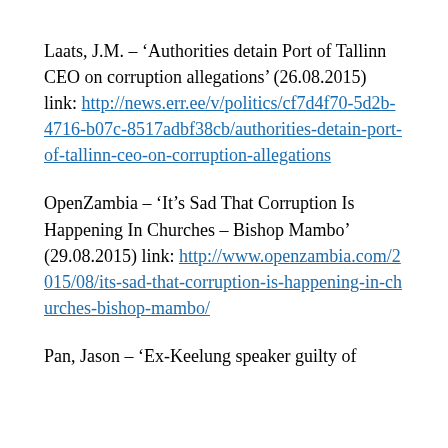Laats, J.M. – 'Authorities detain Port of Tallinn CEO on corruption allegations' (26.08.2015) link: http://news.err.ee/v/politics/cf7d4f70-5d2b-4716-b07c-8517adbf38cb/authorities-detain-port-of-tallinn-ceo-on-corruption-allegations
OpenZambia – 'It's Sad That Corruption Is Happening In Churches – Bishop Mambo' (29.08.2015) link: http://www.openzambia.com/2015/08/its-sad-that-corruption-is-happening-in-churches-bishop-mambo/
Pan, Jason – 'Ex-Keelung speaker guilty of